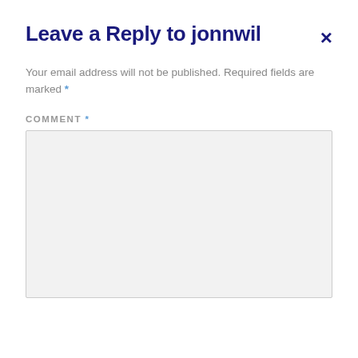Leave a Reply to jonnwil ×
Your email address will not be published. Required fields are marked *
COMMENT *
[Figure (screenshot): Empty comment text area input box with light gray background]